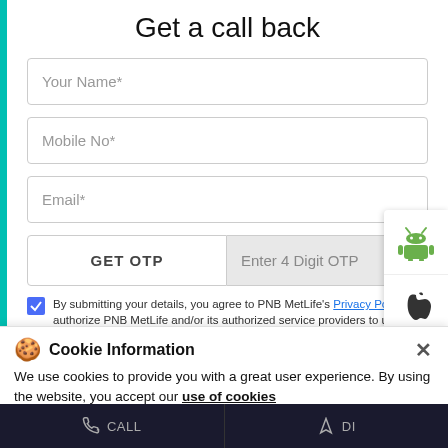Get a call back
Your Name*
Mobile No*
Email*
GET OTP | Enter 4 Digit OTP
By submitting your details, you agree to PNB MetLife's Privacy Policy and authorize PNB MetLife and/or its authorized service providers to use the above information and/or contact you to assist you with the policy purchase and/or servicing. The approval/authorization provided by you hereafter will supersede all prior authorizations/approvals/disapprovals/registrations made by you in this regard.
Cookie Information
We use cookies to provide you with a great user experience. By using the website, you accept our use of cookies
I ACCEPT
CALL
DI...